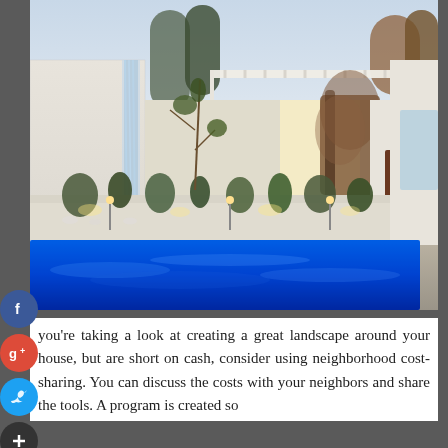[Figure (photo): Modern backyard courtyard with illuminated pool featuring blue LED water, a water feature/waterfall on the left white wall, raised planter beds with plants, pergola/shade structure overhead, and vines growing on accent walls at dusk.]
you're taking a look at creating a great landscape around your house, but are short on cash, consider using neighborhood cost-sharing. You can discuss the costs with your neighbors and share the tools. A program is created so